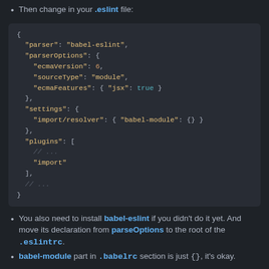Then change in your .eslint file:
[Figure (screenshot): Code block showing ESLint configuration JSON with parser, parserOptions, settings, and plugins fields]
You also need to install babel-eslint if you didn't do it yet. And move its declaration from parseOptions to the root of the .eslintrc.
babel-module part in .babelrc section is just {}, it's okay.
Install ESLint plugin in vsCode
Probably you'll need to write in your .vscode/settings.json something like next lines. They force vscode to change CWD (current directory) in the